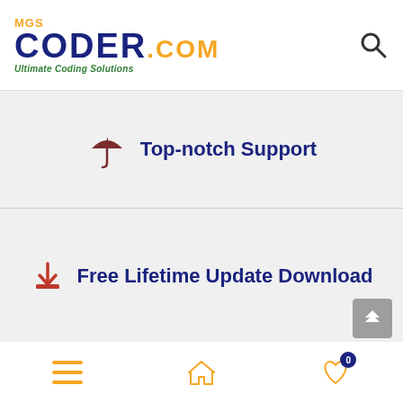[Figure (logo): MGS Coder .com logo with tagline 'Ultimate Coding Solutions']
Top-notch Support
Free Lifetime Update Download
[Figure (other): Bottom navigation bar with hamburger menu, home icon, and heart/wishlist icon with badge showing 0]